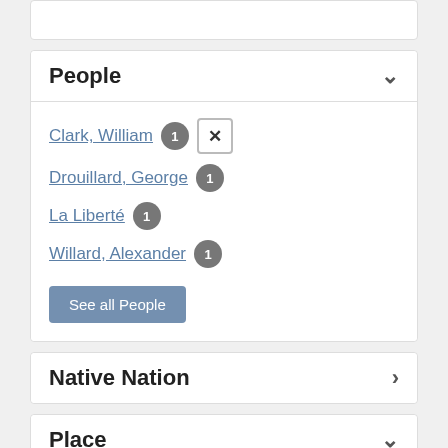People
Clark, William 1 ✕
Drouillard, George 1
La Liberté 1
Willard, Alexander 1
See all People
Native Nation
Place
Boyer (Bowyer) River (Pott's Creek) 1 ✕